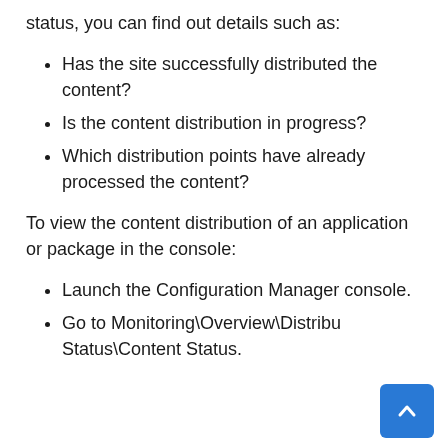status, you can find out details such as:
Has the site successfully distributed the content?
Is the content distribution in progress?
Which distribution points have already processed the content?
To view the content distribution of an application or package in the console:
Launch the Configuration Manager console.
Go to Monitoring\Overview\Distribution Status\Content Status.